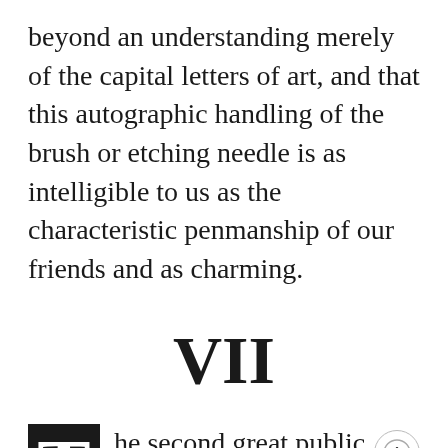beyond an understanding merely of the capital letters of art, and that this autographic handling of the brush or etching needle is as intelligible to us as the characteristic penmanship of our friends and as charming.
VII
The second great public event in Whistler's career was his election in 1886 to the Presidency of the Society of British Artists in Suffolk Street, which made